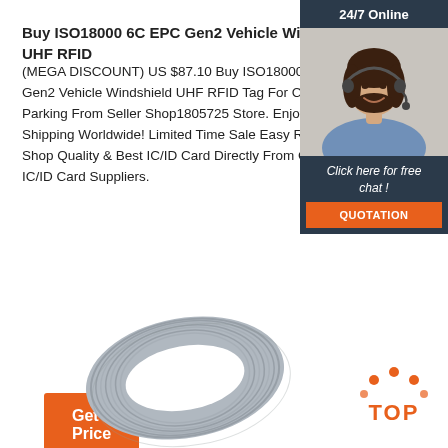Buy ISO18000 6C EPC Gen2 Vehicle Windshield UHF RFID
(MEGA DISCOUNT) US $87.10 Buy ISO18000 6C EPC Gen2 Vehicle Windshield UHF RFID Tag For Car Parking From Seller Shop1805725 Store. Enjoy Free Shipping Worldwide! Limited Time Sale Easy Return. Shop Quality & Best IC/ID Card Directly From China IC/ID Card Suppliers.
Get Price
[Figure (photo): 24/7 Online chat widget with a woman wearing a headset, with 'Click here for free chat!' text and a QUOTATION button]
[Figure (photo): RFID windshield tag product photo - gray circular/ring shaped RFID tag]
[Figure (illustration): TOP button with orange dots arranged in an arc above the word TOP in orange]